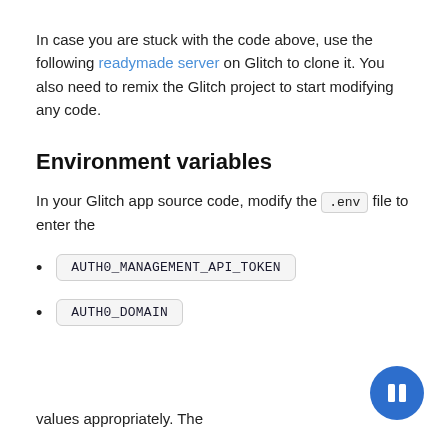In case you are stuck with the code above, use the following readymade server on Glitch to clone it. You also need to remix the Glitch project to start modifying any code.
Environment variables
In your Glitch app source code, modify the .env file to enter the
AUTH0_MANAGEMENT_API_TOKEN
AUTH0_DOMAIN
values appropriately. The